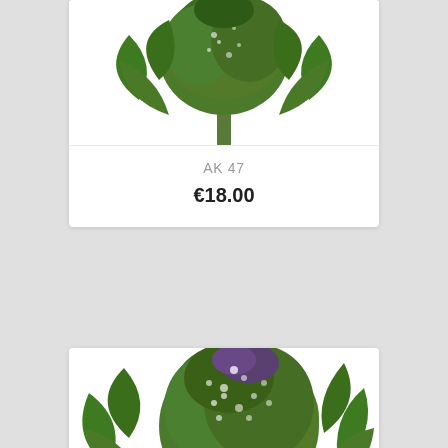[Figure (photo): Product card for AK 47 cannabis plant showing green cannabis bud/flower at top, partially cropped]
AK 47
€18.00
[Figure (photo): Product card for AMNESIA cannabis plant showing a large dense green cannabis bud/flower cola]
AMNESIA